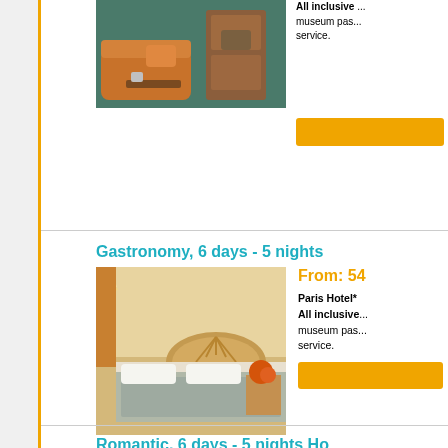[Figure (photo): Hotel room with orange sofa and wooden furniture (cropped at top)]
All inclusive ... museum pas... service.
Gastronomy, 6 days - 5 nights
From: 54...
[Figure (photo): Hotel room with patterned bedspread and wooden headboard]
Paris Hotel*
All inclusive... museum pas... service.
Romantic, 6 days - 5 nights Ho...
From: 54...
[Figure (photo): Hotel room similar to gastronomy photo]
Paris Hotel N...
All inclusive...